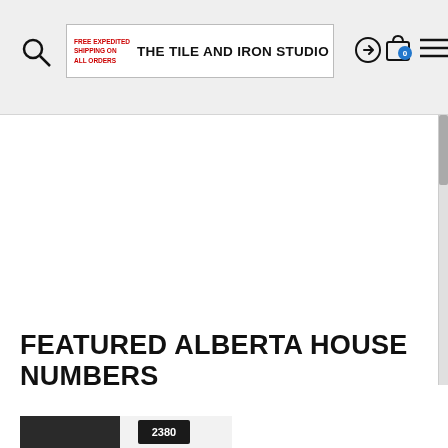FREE EXPEDITED SHIPPING ON ALL ORDERS — THE TILE AND IRON STUDIO
FEATURED ALBERTA HOUSE NUMBERS
[Figure (photo): Photo of a black front door with house number 2380 mounted in a black rectangular plaque, with a bronze lantern light fixture above, against a white siding background.]